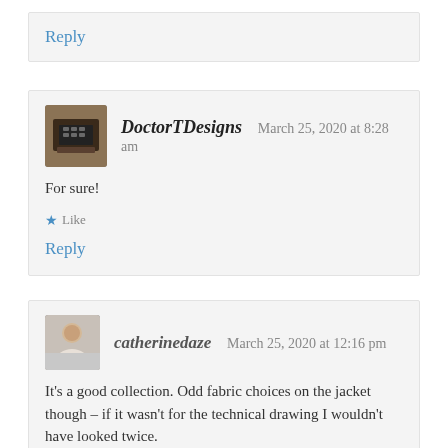Reply
DoctorTDesigns   March 25, 2020 at 8:28 am
For sure!
★ Like
Reply
catherinedaze   March 25, 2020 at 12:16 pm
It's a good collection. Odd fabric choices on the jacket though – if it wasn't for the technical drawing I wouldn't have looked twice.